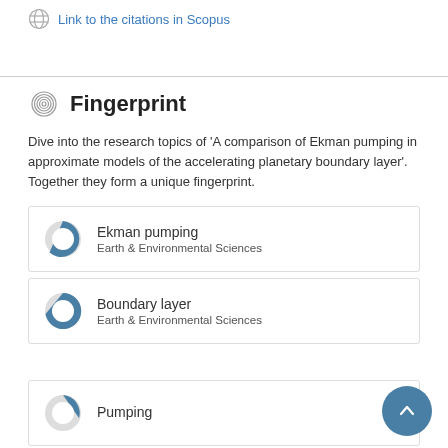Link to the citations in Scopus
Fingerprint
Dive into the research topics of 'A comparison of Ekman pumping in approximate models of the accelerating planetary boundary layer'. Together they form a unique fingerprint.
[Figure (infographic): Donut chart for Ekman pumping keyword, Earth & Environmental Sciences category]
Ekman pumping
Earth & Environmental Sciences
[Figure (infographic): Donut chart for Boundary layer keyword, Earth & Environmental Sciences category]
Boundary layer
Earth & Environmental Sciences
[Figure (infographic): Donut chart for Pumping keyword, partially visible]
Pumping